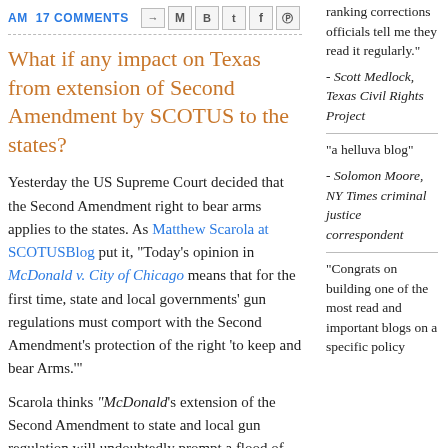AM  17 COMMENTS
What if any impact on Texas from extension of Second Amendment by SCOTUS to the states?
Yesterday the US Supreme Court decided that the Second Amendment right to bear arms applies to the states. As Matthew Scarola at SCOTUSBlog put it, "Today’s opinion in McDonald v. City of Chicago means that for the first time, state and local governments’ gun regulations must comport with the Second Amendment’s protection of the right ‘to keep and bear Arms.’"
Scarola thinks "McDonald’s extension of the Second Amendment to state and local gun regulation will undoubtedly prompt a flood of
ranking corrections officials tell me they read it regularly."
- Scott Medlock, Texas Civil Rights Project
"a helluva blog"
- Solomon Moore, NY Times criminal justice correspondent
"Congrats on building one of the most read and important blogs on a specific policy